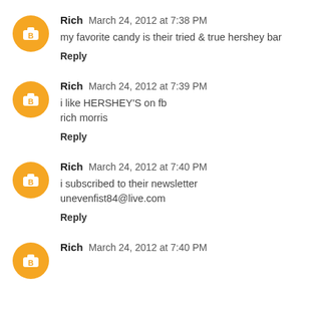Rich March 24, 2012 at 7:38 PM
my favorite candy is their tried & true hershey bar
Reply
Rich March 24, 2012 at 7:39 PM
i like HERSHEY'S on fb
rich morris
Reply
Rich March 24, 2012 at 7:40 PM
i subscribed to their newsletter
unevenfist84@live.com
Reply
Rich March 24, 2012 at 7:40 PM